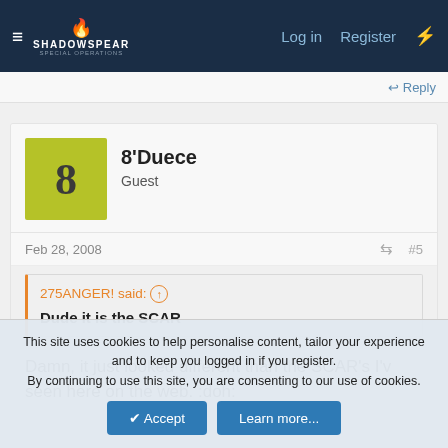ShadowSpear Special Operations — Log in   Register
↩ Reply
8'Duece
Guest
Feb 28, 2008   #5
275ANGER! said: ⊕
Dude it is the SCAR
Damn, it just looked different than the SCAR's I'v seen here on the web. :doh:
This site uses cookies to help personalise content, tailor your experience and to keep you logged in if you register.
By continuing to use this site, you are consenting to our use of cookies.
✔ Accept   Learn more...